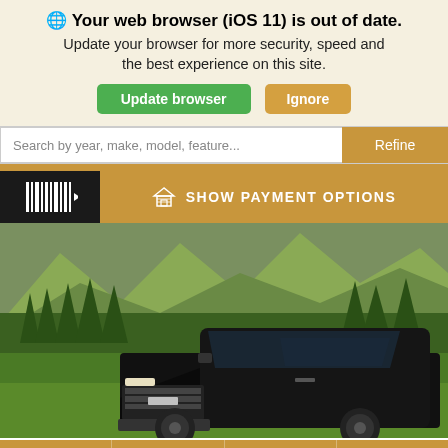🌐 Your web browser (iOS 11) is out of date. Update your browser for more security, speed and the best experience on this site.
Update browser | Ignore
Search by year, make, model, feature... | Refine
SHOW PAYMENT OPTIONS
[Figure (photo): Black Chevrolet pickup truck parked on grass with mountains and trees in background]
Search | Text Us | Contact | Sell/Trade